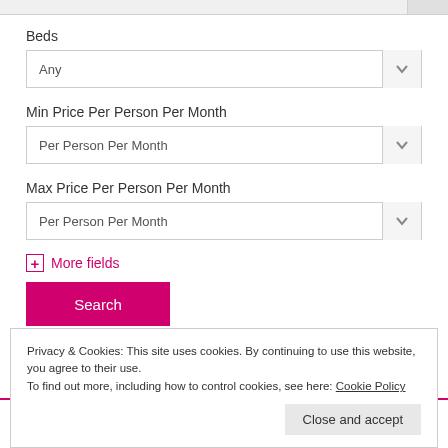Beds
Any
Min Price Per Person Per Month
Per Person Per Month
Max Price Per Person Per Month
Per Person Per Month
More fields
Search
Privacy & Cookies: This site uses cookies. By continuing to use this website, you agree to their use.
To find out more, including how to control cookies, see here: Cookie Policy
Close and accept